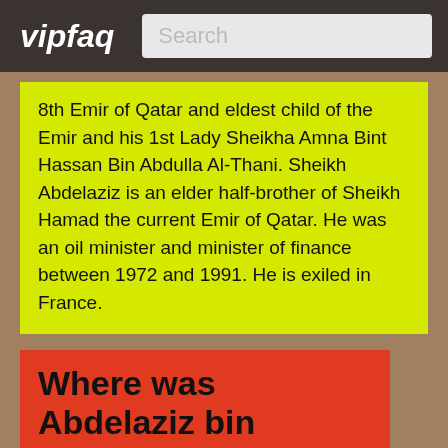vipfaq | Search
8th Emir of Qatar and eldest child of the Emir and his 1st Lady Sheikha Amna Bint Hassan Bin Abdulla Al-Thani. Sheikh Abdelaziz is an elder half-brother of Sheikh Hamad the current Emir of Qatar. He was an oil minister and minister of finance between 1972 and 1991. He is exiled in France.
Where was Abdelaziz bin Khalifa Al Thani born?
Abdelaziz bin Khalifa Al Thani was born in Doha.